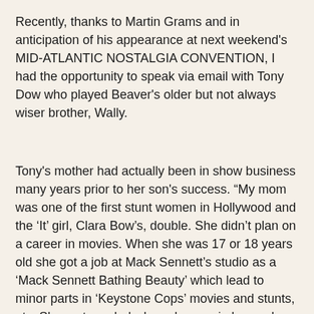Recently, thanks to Martin Grams and in anticipation of his appearance at next weekend's MID-ATLANTIC NOSTALGIA CONVENTION, I had the opportunity to speak via email with Tony Dow who played Beaver's older but not always wiser brother, Wally.
Tony's mother had actually been in show business many years prior to her son's success. “My mom was one of the first stunt women in Hollywood and the ‘It’ girl, Clara Bow’s, double. She didn’t plan on a career in movies. When she was 17 or 18 years old she got a job at Mack Sennett’s studio as a ‘Mack Sennett Bathing Beauty’ which lead to minor parts in ‘Keystone Cops’ movies and stunts, etc. She met my dad when she was in her early twenties and gave up her career, if you could call it that.”
While one might think that his mother’s involvement in the business had spurred his own interests in show biz, that was